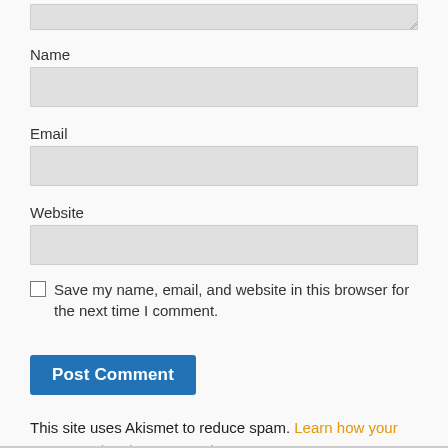[Figure (screenshot): Partial textarea input field (top of page, cropped from above)]
Name
[Figure (screenshot): Name input field (empty, light grey background)]
Email
[Figure (screenshot): Email input field (empty, light grey background)]
Website
[Figure (screenshot): Website input field (empty, light grey background)]
Save my name, email, and website in this browser for the next time I comment.
[Figure (screenshot): Post Comment button (blue background, dark text)]
This site uses Akismet to reduce spam. Learn how your comment data is processed.